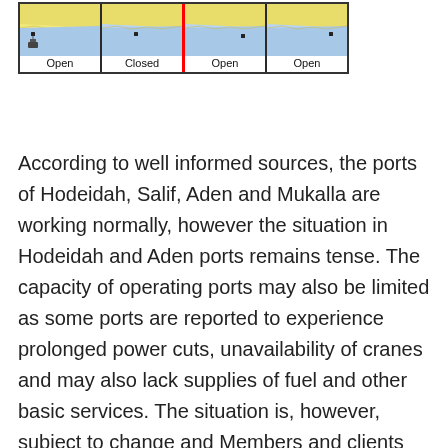[Figure (other): Four small maps of Yemen ports shown in a row inside a bordered grid. Each cell shows a miniature map with a label underneath. Labels: Open, Closed, Open, Open. The 'Closed' cell has a red border on its right side divider.]
According to well informed sources, the ports of Hodeidah, Salif, Aden and Mukalla are working normally, however the situation in Hodeidah and Aden ports remains tense. The capacity of operating ports may also be limited as some ports are reported to experience prolonged power cuts, unavailability of cranes and may also lack supplies of fuel and other basic services. The situation is, however, subject to change and Members and clients are advised to warn their vessels' crews and to carry out an assessment of the risks involved prior to entering or transiting Yemeni